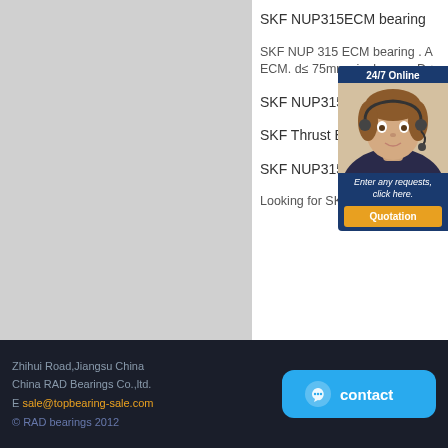[Figure (photo): Gray placeholder panel on left side]
SKF NUP315ECM bearing
SKF NUP 315 ECM bearing . A ECM. d≤ 75mm single row . D≤
SKF NUP315EC
[Figure (photo): 24/7 Online chat widget with female agent photo, text 'Enter any requests, click here.' and Quotation button]
SKF Thrust Ball Bea
SKF NUP315EC
Looking for SKF Bearings? RP
Zhihui Road,Jiangsu China
China RAD Bearings Co.,ltd.
E sale@topbearing-sale.com
© RAD bearings 2012